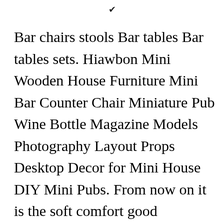✔
Bar chairs stools Bar tables Bar tables sets. Hiawbon Mini Wooden House Furniture Mini Bar Counter Chair Miniature Pub Wine Bottle Magazine Models Photography Layout Props Desktop Decor for Mini House DIY Mini Pubs. From now on it is the soft comfort good cushioning and the convenient swivel foot of Mini Bar. Our successful Bar Lounge chair now has a smaller clone our Mini Bar. KOZYSPHERE 395 Pub Bar Table [CLOSE X] tal Frame Pub